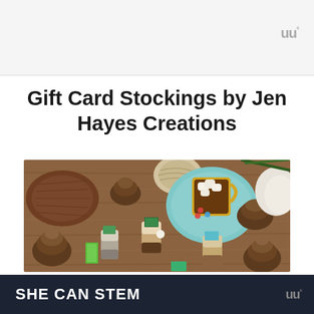Gift Card Stockings by Jen Hayes Creations
[Figure (photo): Overhead flat-lay photo of crocheted mini Christmas stockings stuffed with gift cards, surrounded by pine cones, yarn balls, hot cocoa mug with marshmallows, and winter craft supplies on a wooden surface.]
SHE CAN STEM